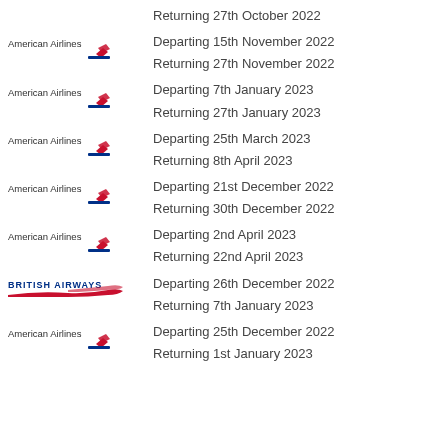Returning 27th October 2022
[Figure (logo): American Airlines logo]
Departing 15th November 2022
Returning 27th November 2022
[Figure (logo): American Airlines logo]
Departing 7th January 2023
Returning 27th January 2023
[Figure (logo): American Airlines logo]
Departing 25th March 2023
Returning 8th April 2023
[Figure (logo): American Airlines logo]
Departing 21st December 2022
Returning 30th December 2022
[Figure (logo): American Airlines logo]
Departing 2nd April 2023
Returning 22nd April 2023
[Figure (logo): British Airways logo]
Departing 26th December 2022
Returning 7th January 2023
[Figure (logo): American Airlines logo]
Departing 25th December 2022
Returning 1st January 2023